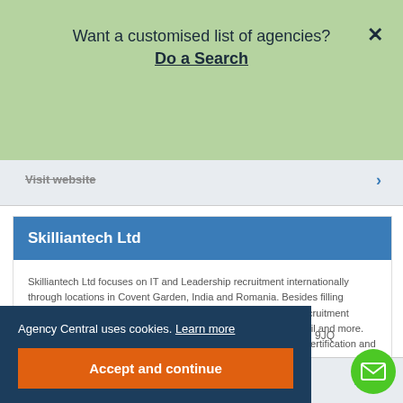Want a customised list of agencies? Do a Search
Skilliantech Ltd
Skilliantech Ltd focuses on IT and Leadership recruitment internationally through locations in Covent Garden, India and Romania. Besides filling permanent, contract and interim positions, they also perform recruitment process outsourcing for start-ups and ventures in FinTech, Retail and more. They hold a Capability Maturity Model Integration for Services certification and are members of the National Association of Software and Services Companies.
Agency Central uses cookies. Learn more
Accept and continue